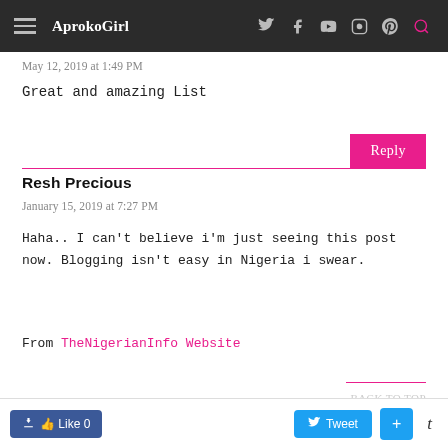AprokoGirl
May 12, 2019 at 1:49 PM
Great and amazing List
Reply
Resh Precious
January 15, 2019 at 7:27 PM
Haha.. I can't believe i'm just seeing this post now. Blogging isn't easy in Nigeria i swear.
From TheNigerianInfo Website
Like 0  Tweet  +  t